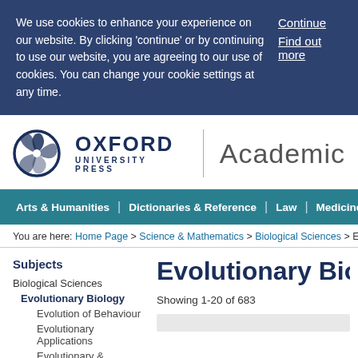We use cookies to enhance your experience on our website. By clicking 'continue' or by continuing to use our website, you are agreeing to our use of cookies. You can change your cookie settings at any time.
Continue
Find out more
[Figure (logo): Oxford University Press logo with circular emblem and text 'OXFORD UNIVERSITY PRESS']
Academic
Arts & Humanities | Dictionaries & Reference | Law | Medicine & Health | Sci
You are here: Home Page > Science & Mathematics > Biological Sciences > Evolution
Subjects
Biological Sciences
Evolutionary Biology
Evolution of Behaviour
Evolutionary Applications
Evolutionary & Population
Evolutionary Biology
Showing 1-20 of 683